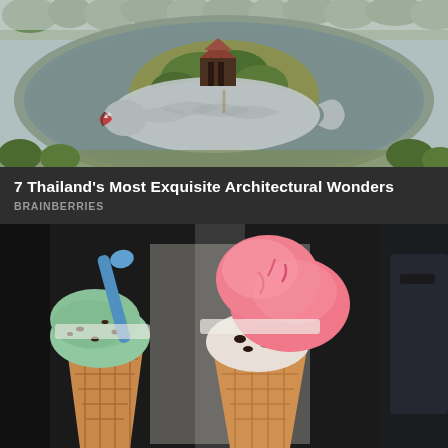[Figure (photo): Aerial photograph of an island in a lake featuring a large silver fish-shaped structure surrounding a traditional Thai temple or pavilion. Surrounded by greenery and water, with trees and parkland visible in the background.]
7 Thailand's Most Exquisite Architectural Wonders
BRAINBERRIES
[Figure (photo): Close-up photograph of two ice cream cones in waffle cones. Left cone has mint/green ice cream with a blue spoon. Right cone has large scoops of pink strawberry ice cream with cookies and cream at the bottom. Both held in what appears to be a car interior.]